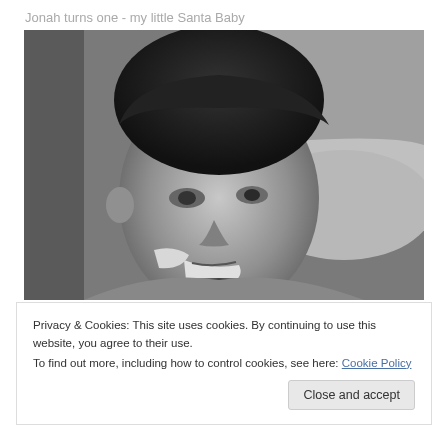Jonah turns one - my little Santa Baby
[Figure (photo): Black and white photo of a young toddler (approximately one year old) sitting in a bathtub with frosting or cream on their face, looking to the side]
Privacy & Cookies: This site uses cookies. By continuing to use this website, you agree to their use.
To find out more, including how to control cookies, see here: Cookie Policy
Close and accept